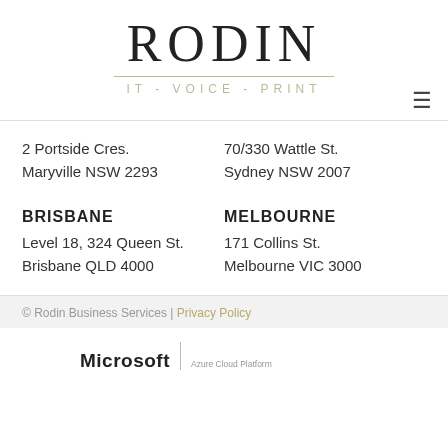[Figure (logo): Rodin IT - VOICE - PRINT company logo with large serif RODIN text and golden separator line with subtitle]
2 Portside Cres.
Maryville NSW 2293
70/330 Wattle St.
Sydney NSW 2007
BRISBANE
MELBOURNE
Level 18, 324 Queen St.
Brisbane QLD 4000
171 Collins St.
Melbourne VIC 3000
© Rodin Business Services | Privacy Policy
[Figure (logo): Microsoft Azure Cloud Platform logo at bottom]